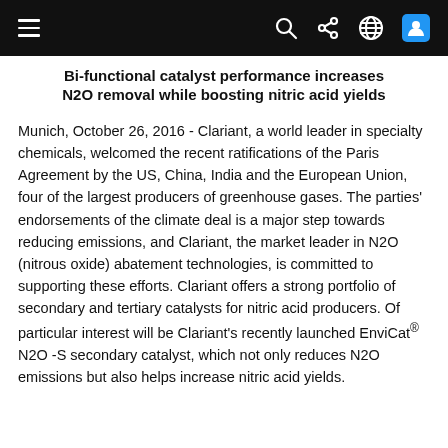Navigation bar with hamburger menu, search, share, globe, and user icons
Bi-functional catalyst performance increases N2O removal while boosting nitric acid yields
Munich, October 26, 2016 - Clariant, a world leader in specialty chemicals, welcomed the recent ratifications of the Paris Agreement by the US, China, India and the European Union, four of the largest producers of greenhouse gases. The parties' endorsements of the climate deal is a major step towards reducing emissions, and Clariant, the market leader in N2O (nitrous oxide) abatement technologies, is committed to supporting these efforts. Clariant offers a strong portfolio of secondary and tertiary catalysts for nitric acid producers. Of particular interest will be Clariant's recently launched EnviCat® N2O -S secondary catalyst, which not only reduces N2O emissions but also helps increase nitric acid yields.